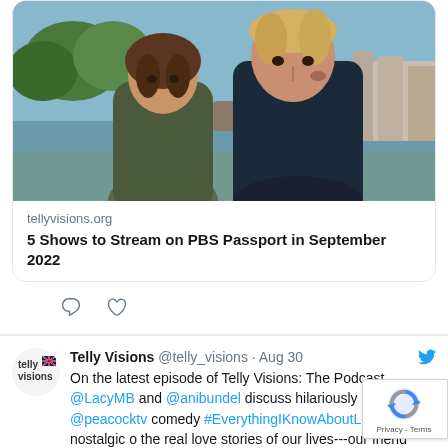[Figure (photo): Photo of two actors — a woman with short brown hair and a man with blond hair — standing outdoors near a waterway with boats and trees in background]
tellyvisions.org
5 Shows to Stream on PBS Passport in September 2022
Telly Visions @telly_visions · Aug 30
On the latest episode of Telly Visions: The Podcast, @LacyMB and @anibundel discuss hilariously awkward @peacocktv comedy #EverythingIKnowAboutLove, a nostalgic o the real love stories of our lives---our friend tellyvisions.org/2022/08/30/134...